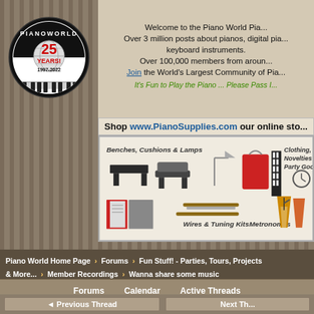[Figure (logo): Piano World 25 Years 1997-2022 circular logo]
Welcome to the Piano World Piano Forums. Over 3 million posts about pianos, digital pianos, and all types of keyboard instruments. Over 100,000 members from around the world. Join the World's Largest Community of Piano Lovers! It's Fun to Play the Piano ... Please Pass It On
[Figure (infographic): Shop www.PianoSupplies.com our online store banner showing Benches, Cushions & Lamps, Clothing, Novelties & Party Goods, Wires & Tuning Kits, Metronomes]
Piano World Home Page > Forums > Fun Stuff! - Parties, Tours, Projects & More... > Member Recordings > Wanna share some music
Forums  Calendar  Active Threads
◄ Previous Thread
Next Th...